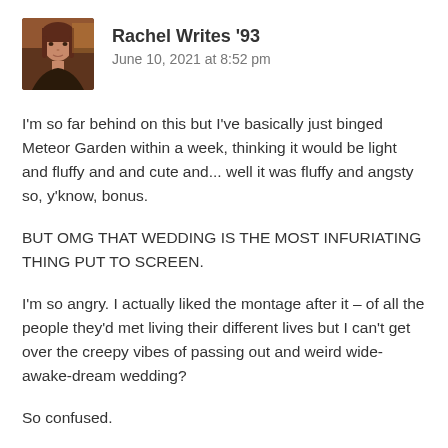[Figure (photo): Small square avatar photo of a woman with reddish-brown hair, appears to be in warm indoor lighting]
Rachel Writes '93
June 10, 2021 at 8:52 pm
I'm so far behind on this but I've basically just binged Meteor Garden within a week, thinking it would be light and fluffy and and cute and... well it was fluffy and angsty so, y'know, bonus.
BUT OMG THAT WEDDING IS THE MOST INFURIATING THING PUT TO SCREEN.
I'm so angry. I actually liked the montage after it – of all the people they'd met living their different lives but I can't get over the creepy vibes of passing out and weird wide-awake-dream wedding?
So confused.
I'm just going to focus on how cute the main OTP was and